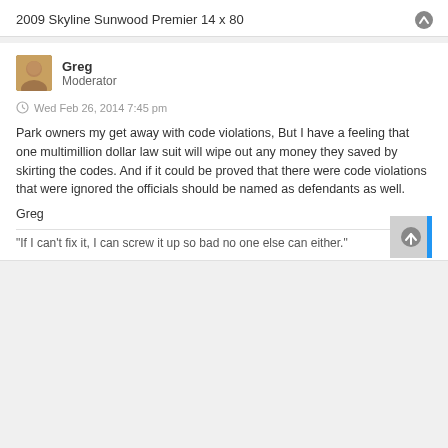2009 Skyline Sunwood Premier 14 x 80
Greg
Moderator
Wed Feb 26, 2014 7:45 pm
Park owners my get away with code violations, But I have a feeling that one multimillion dollar law suit will wipe out any money they saved by skirting the codes. And if it could be proved that there were code violations that were ignored the officials should be named as defendants as well.
Greg
"If I can't fix it, I can screw it up so bad no one else can either."